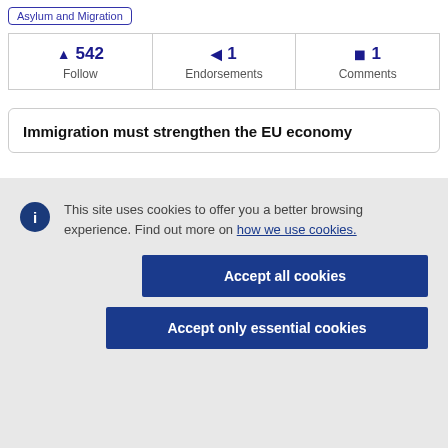Asylum and Migration
| Follow | Endorsements | Comments |
| --- | --- | --- |
| ▲ 542 | ◀ 1 | ◼ 1 |
Immigration must strengthen the EU economy
This site uses cookies to offer you a better browsing experience. Find out more on how we use cookies.
Accept all cookies
Accept only essential cookies